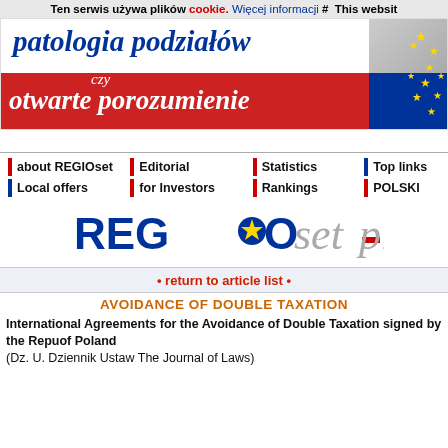Ten serwis używa plików cookie. Więcej informacji # This websit
[Figure (illustration): Banner reading 'patologia podziałów czy otwarte porozumienie' with Polish and EU flag colors (white/red background, blue text, EU stars on right side)]
about REGIOset
Editorial
Statistics
Top links
Local offers
for Investors
Rankings
POLSKI
[Figure (logo): REGIOset.pl logo with blue REGIO text, yellow star in O, grey italic 'set' text, red dash, grey italic 'pl' text]
• return to article list •
AVOIDANCE OF DOUBLE TAXATION
International Agreements for the Avoidance of Double Taxation signed by the Republic of Poland
(Dz. U. Dziennik Ustaw The Journal of Laws)